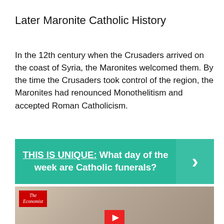Later Maronite Catholic History
In the 12th century when the Crusaders arrived on the coast of Syria, the Maronites welcomed them. By the time the Crusaders took control of the region, the Maronites had renounced Monothelitism and accepted Roman Catholicism.
[Figure (infographic): Green banner with text: THIS IS UNIQUE: What day of the week are Catholic funerals? with a right-arrow chevron on a darker green background on the right side.]
[Figure (photo): Photo of an elderly figure wearing white papal garments (Pope Francis), with The Economist logo in the top left corner and a red YouTube play button partially visible at the bottom.]